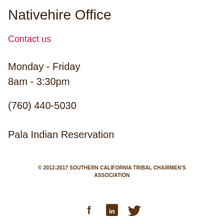Nativehire Office
Contact us
Monday - Friday
8am - 3:30pm
(760) 440-5030
Pala Indian Reservation
© 2012-2017 SOUTHERN CALIFORNIA TRIBAL CHAIRMEN'S ASSOCIATION
[Figure (illustration): Social media icons: Facebook (f), LinkedIn (in), Twitter (bird)]